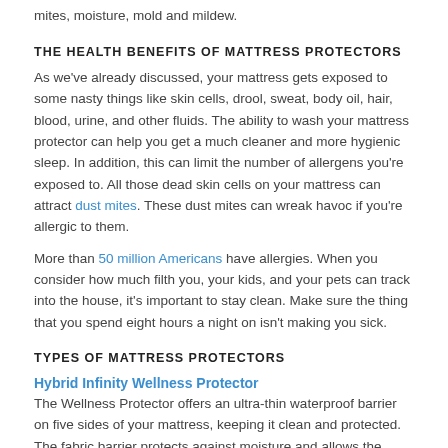mites, moisture, mold and mildew.
THE HEALTH BENEFITS OF MATTRESS PROTECTORS
As we've already discussed, your mattress gets exposed to some nasty things like skin cells, drool, sweat, body oil, hair, blood, urine, and other fluids. The ability to wash your mattress protector can help you get a much cleaner and more hygienic sleep. In addition, this can limit the number of allergens you're exposed to. All those dead skin cells on your mattress can attract dust mites. These dust mites can wreak havoc if you're allergic to them.
More than 50 million Americans have allergies. When you consider how much filth you, your kids, and your pets can track into the house, it's important to stay clean. Make sure the thing that you spend eight hours a night on isn't making you sick.
TYPES OF MATTRESS PROTECTORS
Hybrid Infinity Wellness Protector
The Wellness Protector offers an ultra-thin waterproof barrier on five sides of your mattress, keeping it clean and protected. The fabric barrier protects against moisture and allows the airflow to